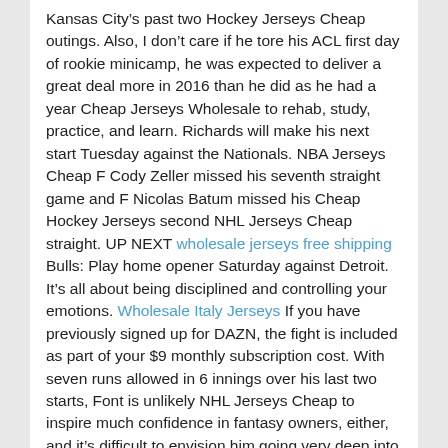Kansas City’s past two Hockey Jerseys Cheap outings. Also, I don’t care if he tore his ACL first day of rookie minicamp, he was expected to deliver a great deal more in 2016 than he did as he had a year Cheap Jerseys Wholesale to rehab, study, practice, and learn. Richards will make his next start Tuesday against the Nationals. NBA Jerseys Cheap F Cody Zeller missed his seventh straight game and F Nicolas Batum missed his Cheap Hockey Jerseys second NHL Jerseys Cheap straight. UP NEXT wholesale jerseys free shipping Bulls: Play home opener Saturday against Detroit. It’s all about being disciplined and controlling your emotions. Wholesale Italy Jerseys If you have previously signed up for DAZN, the fight is included as part of your $9 monthly subscription cost. With seven runs allowed in 6 innings over his last two starts, Font is unlikely NHL Jerseys Cheap to inspire much confidence in fantasy owners, either, and it’s difficult to envision him going very deep into Monday’s contest, Cheap Jerseys Wholesale as he’s yet to throw more than four innings in any outing this season. Immediately following the draft, each team will submit a draft list of its